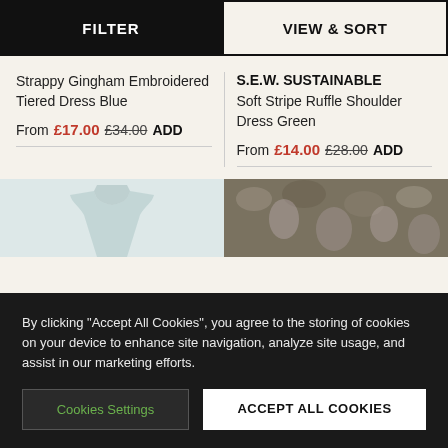FILTER
VIEW & SORT
Strappy Gingham Embroidered Tiered Dress Blue
S.E.W. SUSTAINABLE
Soft Stripe Ruffle Shoulder Dress Green
From £17.00 £34.00 ADD
From £14.00 £28.00 ADD
[Figure (photo): Partial product image of a blue/grey dress on light teal background]
[Figure (photo): Partial product image with floral/nature background in muted olive tones]
By clicking "Accept All Cookies", you agree to the storing of cookies on your device to enhance site navigation, analyze site usage, and assist in our marketing efforts.
Cookies Settings
ACCEPT ALL COOKIES